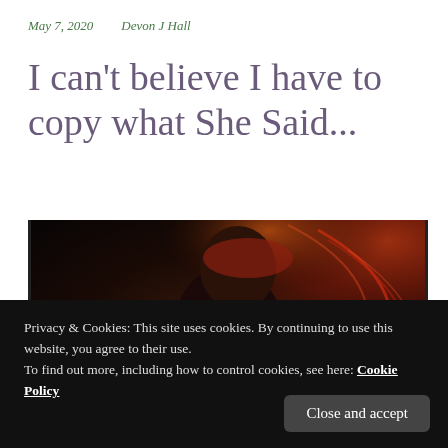May 7, 2020    Devon J Hall
I can't believe I have to copy what She Said...
[Figure (photo): Woman in black blazer with red artistic light effects and watermark text at bottom]
Privacy & Cookies: This site uses cookies. By continuing to use this website, you agree to their use.
To find out more, including how to control cookies, see here: Cookie Policy